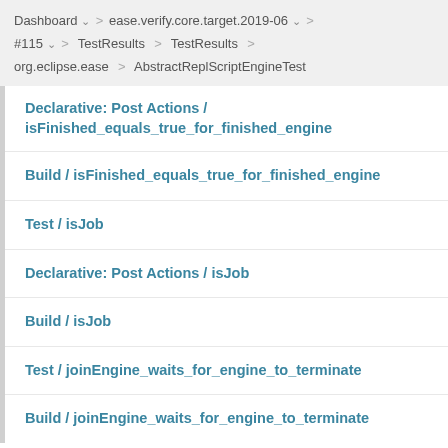Dashboard > ease.verify.core.target.2019-06 > #115 > TestResults > TestResults > org.eclipse.ease > AbstractReplScriptEngineTest
Declarative: Post Actions / isFinished_equals_true_for_finished_engine
Build / isFinished_equals_true_for_finished_engine
Test / isJob
Declarative: Post Actions / isJob
Build / isJob
Test / joinEngine_waits_for_engine_to_terminate
Build / joinEngine_waits_for_engine_to_terminate